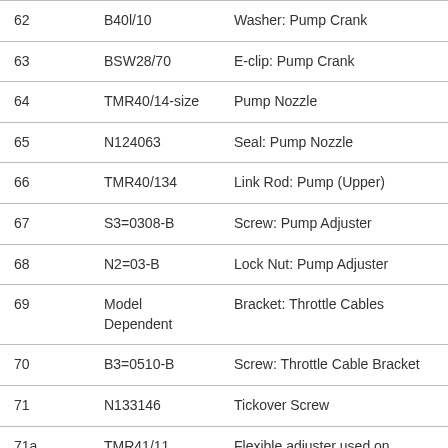| 62 | B40l/10 | Washer: Pump Crank |
| 63 | BSW28/70 | E-clip: Pump Crank |
| 64 | TMR40/14-size | Pump Nozzle |
| 65 | N124063 | Seal: Pump Nozzle |
| 66 | TMR40/134 | Link Rod: Pump (Upper) |
| 67 | S3=0308-B | Screw: Pump Adjuster |
| 68 | N2=03-B | Lock Nut: Pump Adjuster |
| 69 | Model Dependent | Bracket: Throttle Cables |
| 70 | B3=0510-B | Screw: Throttle Cable Bracket |
| 71 | N133146 | Tickover Screw |
| 71a | TMR41/11 | Flexible adjuster used on huskies etc 8" long |
| 72 | 826-05003 | Spring Seat: Tickover Screw |